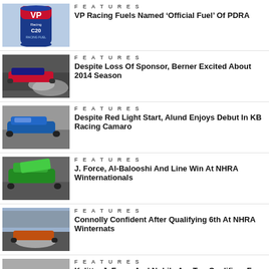[Figure (photo): VP Racing Fuels C20 canister product photo]
FEATURES
VP Racing Fuels Named ‘Official Fuel’ Of PDRA
[Figure (photo): Drag racing funny car doing burnout, smoke visible]
FEATURES
Despite Loss Of Sponsor, Berner Excited About 2014 Season
[Figure (photo): Blue funny car drag racing on track]
FEATURES
Despite Red Light Start, Alund Enjoys Debut In KB Racing Camaro
[Figure (photo): Funny car drag racing, front body up at launch]
FEATURES
J. Force, Al-Balooshi And Line Win At NHRA Winternationals
[Figure (photo): Drag car burnout with crowd in background]
FEATURES
Connolly Confident After Qualifying 6th At NHRA Winternats
[Figure (photo): Top fuel dragster at starting line]
FEATURES
Kalitta, J. Force And Nobile Are Top Qualifiers For NHRA At Pomona